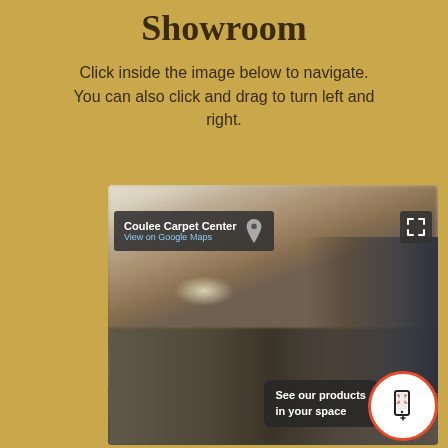Showroom
Click inside the image below to navigate. You can also click and drag to turn left and right.
[Figure (screenshot): Google Street View screenshot of Coulee Carpet Center showroom interior. Shows ceiling, shelving units, carpet displays. Has overlay with store name 'Coulee Carpet Center' and 'View on Google Maps' link with map pin icon. Top right has fullscreen expand icon. Bottom has dark overlay 'See our products in your space' with AR phone icon in orange-bordered white circle.]